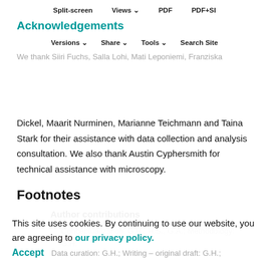Split-screen  Views  PDF  PDF+SI
Acknowledgements
Versions  Share  Tools  Search Site
We thank Siiri Fuchs, Salla Lohi, Mati Leponiemi, Franziska Dickel, Maarit Nurminen, Marianne Teichmann and Taina Stark for their assistance with data collection and analysis consultation. We also thank Austin Cyphersmith for technical assistance with microscopy.
Footnotes
Author contributions
Conceptualization: G.H., H.S., G.A.; Methodology: G.H., H.S.;